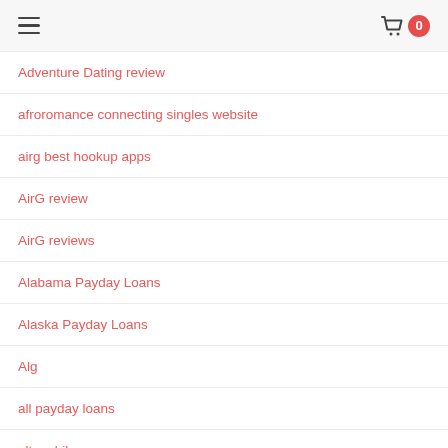≡  🛒 0
Adventure Dating review
afroromance connecting singles website
airg best hookup apps
AirG review
AirG reviews
Alabama Payday Loans
Alaska Payday Loans
Alg
all payday loans
alt mobile
amateurmatch hookup hotshot